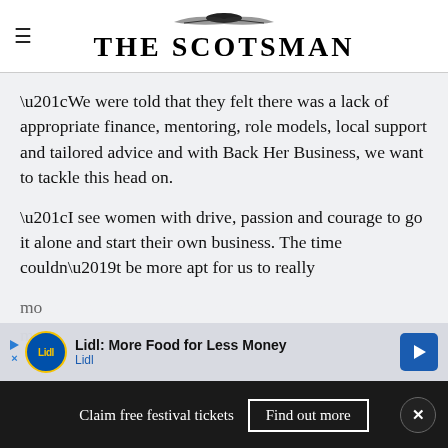THE SCOTSMAN
“We were told that they felt there was a lack of appropriate finance, mentoring, role models, local support and tailored advice and with Back Her Business, we want to tackle this head on.
“I see women with drive, passion and courage to go it alone and start their own business. The time couldn’t be more apt for us to really mo... me...
[Figure (screenshot): Lidl advertisement banner: 'Lidl: More Food for Less Money' with Lidl logo and navigation icon]
Claim free festival tickets   Find out more